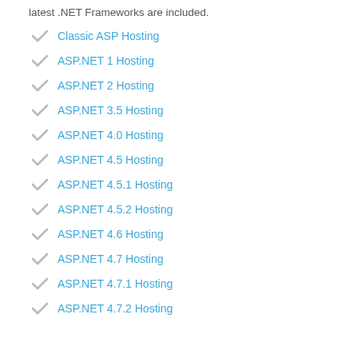latest .NET Frameworks are included.
Classic ASP Hosting
ASP.NET 1 Hosting
ASP.NET 2 Hosting
ASP.NET 3.5 Hosting
ASP.NET 4.0 Hosting
ASP.NET 4.5 Hosting
ASP.NET 4.5.1 Hosting
ASP.NET 4.5.2 Hosting
ASP.NET 4.6 Hosting
ASP.NET 4.7 Hosting
ASP.NET 4.7.1 Hosting
ASP.NET 4.7.2 Hosting